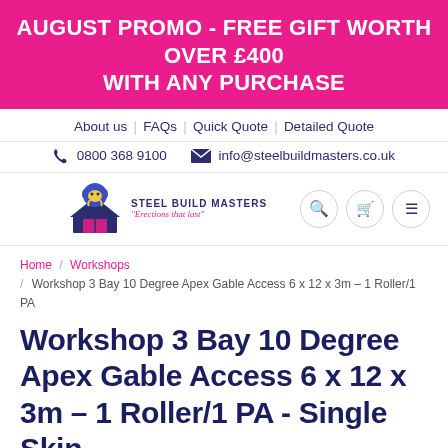AUGUST PROMO - FREE GIFT WORTH OVER £400 WITH ANY PURCHASE
About us | FAQs | Quick Quote | Detailed Quote
☎ 0800 368 9100  ✉ info@steelbuildmasters.co.uk
[Figure (logo): Steel Build Masters logo with mammoth mascot and tagline 'Erections that last']
Home / Workshops / Workshop 3 Bay 10 Degree Apex Gable Access 6 x 12 x 3m – 1 Roller/1 PA
Workshop 3 Bay 10 Degree Apex Gable Access 6 x 12 x 3m – 1 Roller/1 PA - Single Skin
« Previous Product | Next Product »